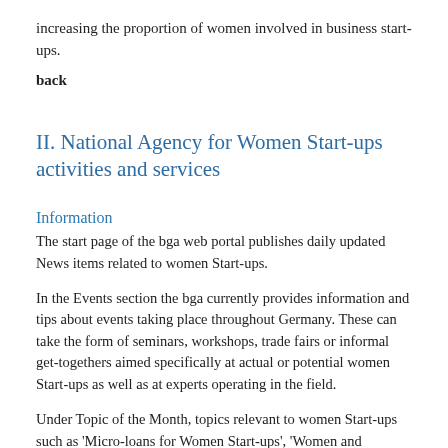increasing the proportion of women involved in business start-ups.
back
II. National Agency for Women Start-ups activities and services
Information
The start page of the bga web portal publishes daily updated News items related to women Start-ups.
In the Events section the bga currently provides information and tips about events taking place throughout Germany. These can take the form of seminars, workshops, trade fairs or informal get-togethers aimed specifically at actual or potential women Start-ups as well as at experts operating in the field.
Under Topic of the Month, topics relevant to women Start-ups such as 'Micro-loans for Women Start-ups', 'Women and Business Succession' or 'Business Start-ups for the Unemployed' are examined in more depth.
Under Literature as well as Facts&Figures brochures and books, fact